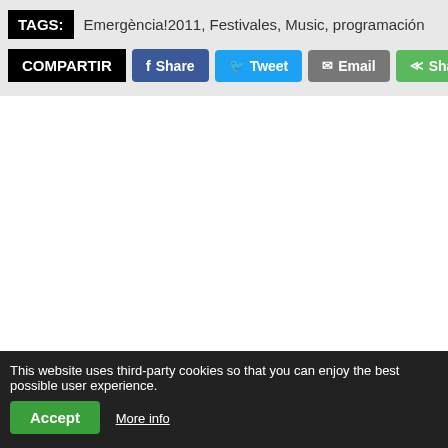TAGS: Emergència!2011, Festivales, Music, programación
COMPARTIR | Share | Tweet | Email | Share | Li...
1
This website uses third-party cookies so that you can enjoy the best possible user experience.
Accept | More info